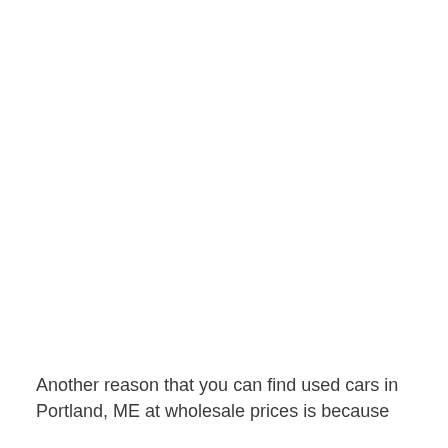Another reason that you can find used cars in Portland, ME at wholesale prices is because